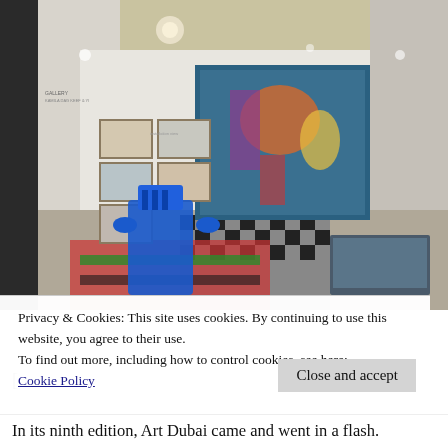[Figure (photo): Interior of an art fair exhibition hall showing colorful artworks including large paintings on white walls, a blue sculptural chair, a checkered floor, colorful rugs, and a display case. The room has ornate ceiling with warm lighting.]
Privacy & Cookies: This site uses cookies. By continuing to use this website, you agree to their use.
To find out more, including how to control cookies, see here:
Cookie Policy
[
Close and accept
In its ninth edition, Art Dubai came and went in a flash.